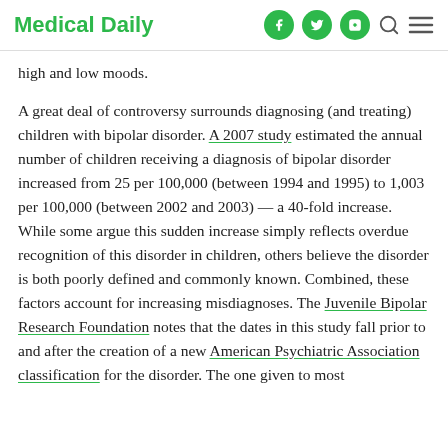Medical Daily
high and low moods.
A great deal of controversy surrounds diagnosing (and treating) children with bipolar disorder. A 2007 study estimated the annual number of children receiving a diagnosis of bipolar disorder increased from 25 per 100,000 (between 1994 and 1995) to 1,003 per 100,000 (between 2002 and 2003) — a 40-fold increase. While some argue this sudden increase simply reflects overdue recognition of this disorder in children, others believe the disorder is both poorly defined and commonly known. Combined, these factors account for increasing misdiagnoses. The Juvenile Bipolar Research Foundation notes that the dates in this study fall prior to and after the creation of a new American Psychiatric Association classification for the disorder. The one given to most